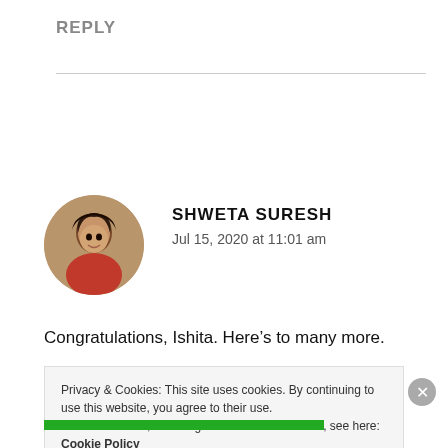REPLY
SHWETA SURESH
Jul 15, 2020 at 11:01 am
Congratulations, Ishita. Here’s to many more.
Privacy & Cookies: This site uses cookies. By continuing to use this website, you agree to their use.
To find out more, including how to control cookies, see here: Cookie Policy
Close and accept